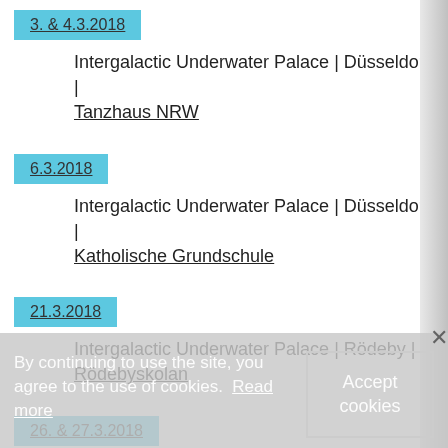3. & 4.3.2018
Intergalactic Underwater Palace | Düsseldorf | Tanzhaus NRW
6.3.2018
Intergalactic Underwater Palace | Düsseldorf | Katholische Grundschule
21.3.2018
Intergalactic Underwater Palace | Rödeby | Rödebyskolan
26. & 27.3.2018
Intergalactic Underwater Palace | Nättraby | Nättrabyskolan
By continuing to use the site, you agree to the use of cookies. Read more